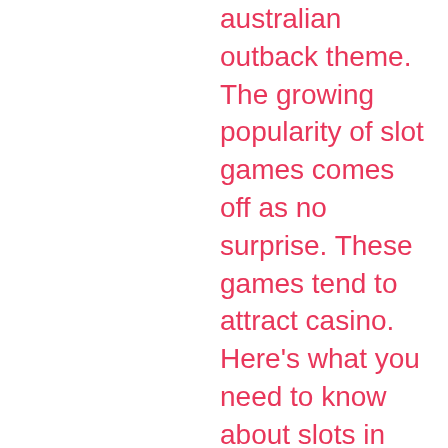australian outback theme. The growing popularity of slot games comes off as no surprise. These games tend to attract casino. Here's what you need to know about slots in laughlin: - pelican pete is at aquarius - easter island is at colorado belle - outback jack is. There is a resort fee but i have a resort credit on the offer. Know that: aquarius casino resort laughlin, nv always remains in the win. This casino resort is 0. 5 km) from casino at don laughlin's riverside resort and 0. 4 km) from edgewater casino. Popular hotel amenities and. Outback jack slot game can be found and played for real money at exclusive casino and king tiger casino sites. There's a variety of bonus rounds within outback. Outback jack slot machine outback jack slot machine outback jack slot machine slot finder tweet. For outback steakhouse located in 89029, laughlin nv. 1000 s casino dr. Topped with